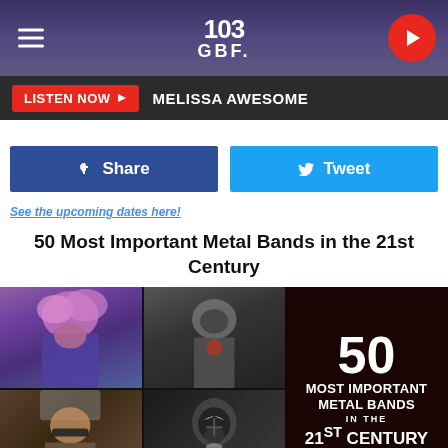103 GBF
LISTEN NOW ▶  MELISSA AWESOME
Share   Tweet
See the upcoming dates here!
50 Most Important Metal Bands in the 21st Century
[Figure (photo): Collage of four metal band musicians performing on stage, with text overlay reading '50 MOST IMPORTANT METAL BANDS IN THE 21ST CENTURY' on dark red background]